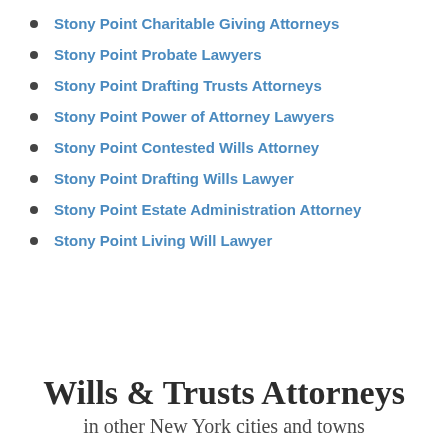Stony Point Charitable Giving Attorneys
Stony Point Probate Lawyers
Stony Point Drafting Trusts Attorneys
Stony Point Power of Attorney Lawyers
Stony Point Contested Wills Attorney
Stony Point Drafting Wills Lawyer
Stony Point Estate Administration Attorney
Stony Point Living Will Lawyer
Wills & Trusts Attorneys
in other New York cities and towns